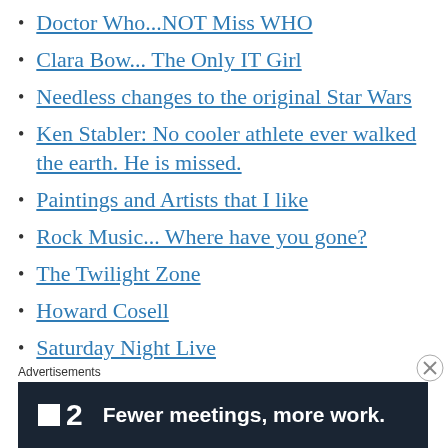Doctor Who...NOT Miss WHO
Clara Bow... The Only IT Girl
Needless changes to the original Star Wars
Ken Stabler: No cooler athlete ever walked the earth. He is missed.
Paintings and Artists that I like
Rock Music... Where have you gone?
The Twilight Zone
Howard Cosell
Saturday Night Live
A Clockwork Orange
Beatles Movies
The Boys of Summer
Advertisements
[Figure (other): Advertisement banner: P2 logo with tagline 'Fewer meetings, more work.' on dark background]